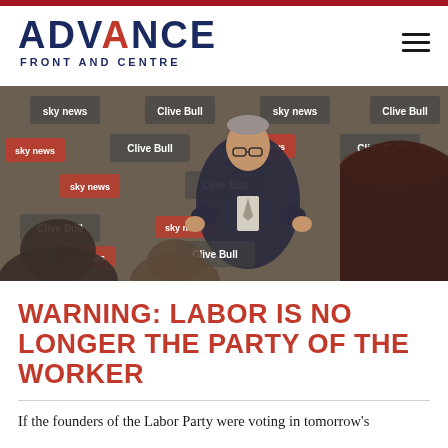ADVANCE FRONT AND CENTRE
[Figure (photo): A man in a dark suit speaking at a Sky News / Clive Bull branded event backdrop, with audience members visible in the foreground and background]
WARNING: LABOR IS NO LONGER THE PARTY OF THE WORKER
If the founders of the Labor Party were voting in tomorrow's